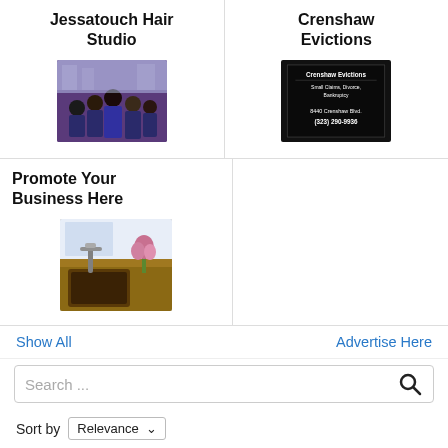Jessatouch Hair Studio
[Figure (photo): Group photo of hair studio staff wearing purple t-shirts]
Crenshaw Evictions
[Figure (photo): Advertisement for Crenshaw Evictions showing text: Crenshaw Evictions, Small Claims, Divorce, Bankruptcy, 8440 Crenshaw Blvd., (323) 290-9936]
Promote Your Business Here
[Figure (photo): Kitchen sink with copper basin, faucet, and pink flowers]
Show All
Advertise Here
Search ...
Sort by Relevance